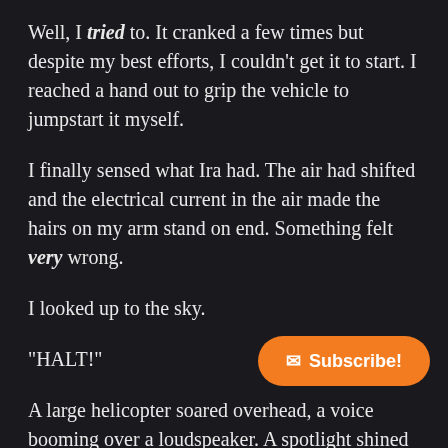Well, I tried to. It cranked a few times but despite my best efforts, I couldn't get it to start. I reached a hand out to grip the vehicle to jumpstart it myself.
I finally sensed what Ira had. The air had shifted and the electrical current in the air made the hairs on my arm stand on end. Something felt very wrong.
I looked up to the sky.
"HALT!"
A large helicopter soared overhead, a voice booming over a loudspeaker. A spotlight shined down on us and the vehicle. Both of us cursed loudly and I scrambled out of the car. Civilians scattered, unsure of what was happening, the two of us ran in the same direction, as the sound of marching footsteps could be heard in the distance. We